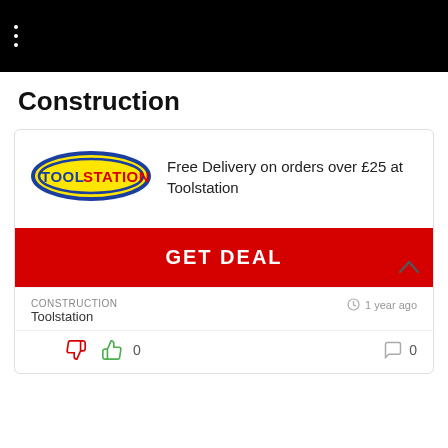≡ (menu icon)
Construction
[Figure (logo): Toolstation logo: blue oval border with yellow fill, red bold text TOOLSTATION]
Free Delivery on orders over £25 at Toolstation
GET DEAL
CONSTRUCTION
Toolstation
1 year ago
0
0